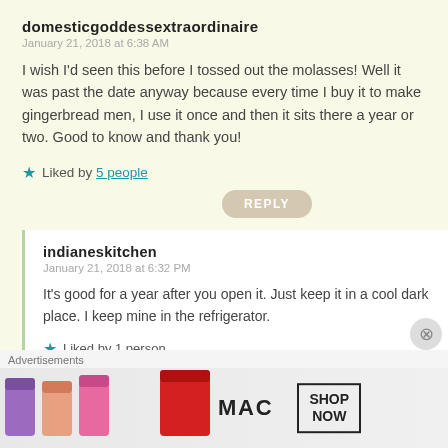domesticgoddessextraordinaire
January 21, 2018 at 6:38 AM
I wish I'd seen this before I tossed out the molasses! Well it was past the date anyway because every time I buy it to make gingerbread men, I use it once and then it sits there a year or two. Good to know and thank you!
★ Liked by 5 people
REPLY
indianeskitchen
January 21, 2018 at 6:32 PM
It's good for a year after you open it. Just keep it in a cool dark place. I keep mine in the refrigerator.
★ Liked by 1 person
Advertisements
[Figure (photo): MAC cosmetics advertisement banner showing colorful lipsticks, MAC logo, and SHOP NOW button]